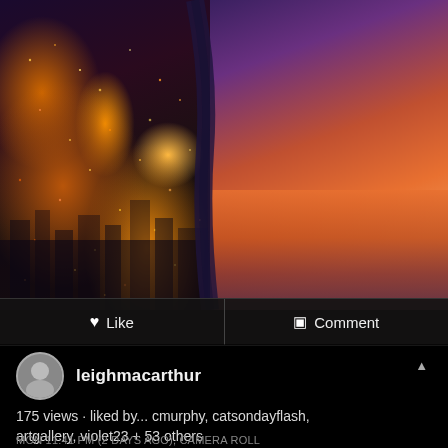[Figure (screenshot): Social media post screenshot showing aerial night city photo on left half and orange-red sunset sky on right half, with Like and Comment action bar, user profile leighmacarthur, view/like count, and timestamp metadata]
Like
Comment
leighmacarthur
175 views · liked by... cmurphy, catsondayflash, artgallery, violet23 + 53 others
MON 11:41 PM (2 DAYS AGO), CAMERA ROLL